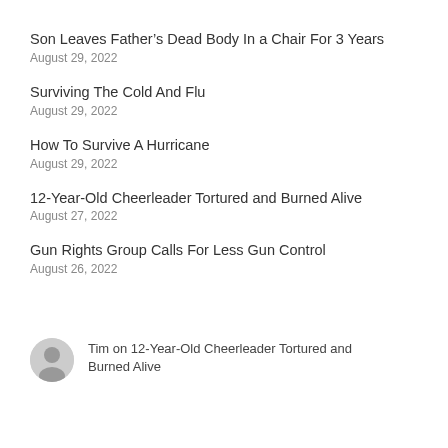Son Leaves Father’s Dead Body In a Chair For 3 Years
August 29, 2022
Surviving The Cold And Flu
August 29, 2022
How To Survive A Hurricane
August 29, 2022
12-Year-Old Cheerleader Tortured and Burned Alive
August 27, 2022
Gun Rights Group Calls For Less Gun Control
August 26, 2022
Tim on 12-Year-Old Cheerleader Tortured and Burned Alive